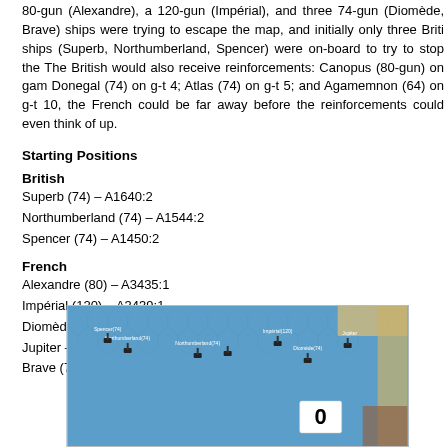80-gun (Alexandre), a 120-gun (Impérial), and three 74-gun (Diomède, Brave) ships were trying to escape the map, and initially only three British ships (Superb, Northumberland, Spencer) were on-board to try to stop them. The British would also receive reinforcements: Canopus (80-gun) on gam- Donegal (74) on g-t 4; Atlas (74) on g-t 5; and Agamemnon (64) on g-t 10, the French could be far away before the reinforcements could even think of up.
Starting Positions
British
Superb (74) – A1640:2
Northumberland (74) – A1544:2
Spencer (74) – A1450:2
French
Alexandre (80) – A3435:1
Impérial (120) – A3439:1
Diomède – A3443:1
Jupiter – A3448:1
Brave (74) – A3452:1
[Figure (photo): A board game map showing naval ships on a blue hexagonal ocean grid. Several ship miniatures are visible with labels. A white card showing '0' is visible in the lower right area.]